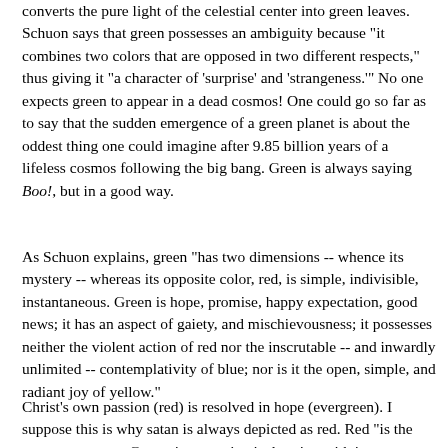converts the pure light of the celestial center into green leaves. Schuon says that green possesses an ambiguity because "it combines two colors that are opposed in two different respects," thus giving it "a character of 'surprise' and 'strangeness.'" No one expects green to appear in a dead cosmos! One could go so far as to say that the sudden emergence of a green planet is about the oddest thing one could imagine after 9.85 billion years of a lifeless cosmos following the big bang. Green is always saying Boo!, but in a good way.
As Schuon explains, green "has two dimensions -- whence its mystery -- whereas its opposite color, red, is simple, indivisible, instantaneous. Green is hope, promise, happy expectation, good news; it has an aspect of gaiety, and mischievousness; it possesses neither the violent action of red nor the inscrutable -- and inwardly unlimited -- contemplativity of blue; nor is it the open, simple, and radiant joy of yellow."
Christ's own passion (red) is resolved in hope (evergreen). I suppose this is why satan is always depicted as red. Red "is the present moment. Green, its opposite, is duration with its...